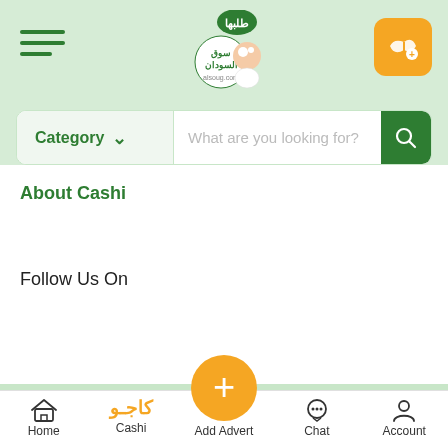[Figure (logo): Alsoug.com logo - Sudanese marketplace app header with hamburger menu, central logo (Arabic text with character mascot), and orange advertise button]
[Figure (screenshot): Search bar with Category dropdown and search field placeholder 'What are you looking for?' with green search button]
About Cashi
Follow Us On
Home | Cashi | Add Advert | Chat | Account - bottom navigation bar